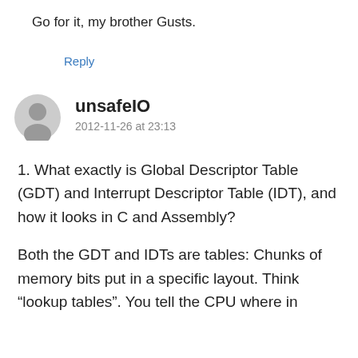Go for it, my brother Gusts.
Reply
unsafeIO
2012-11-26 at 23:13
1. What exactly is Global Descriptor Table (GDT) and Interrupt Descriptor Table (IDT), and how it looks in C and Assembly?
Both the GDT and IDTs are tables: Chunks of memory bits put in a specific layout. Think “lookup tables”. You tell the CPU where in